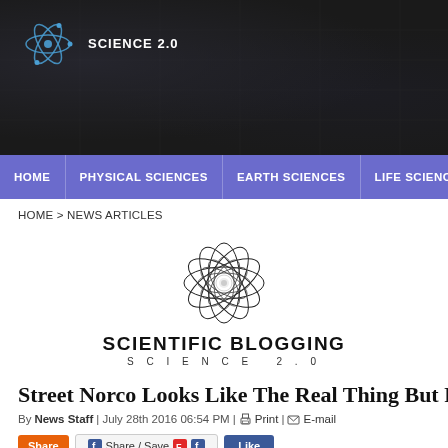[Figure (logo): Science 2.0 logo with atom icon and text on dark background header]
HOME | PHYSICAL SCIENCES | EARTH SCIENCES | LIFE SCIENCES | MEDICI...
HOME > NEWS ARTICLES
[Figure (logo): Scientific Blogging Science 2.0 circular atom logo with text]
Street Norco Looks Like The Real Thing But Rea...
By News Staff | July 28th 2016 06:54 PM | Print | E-mail
Share / Save | Like